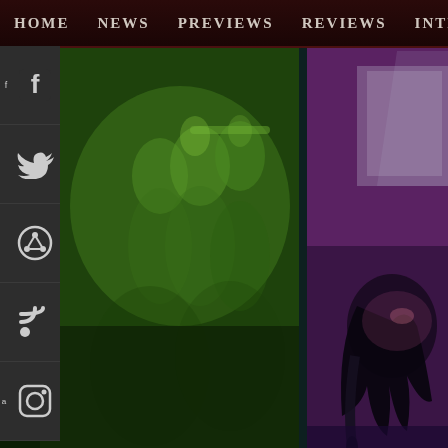HOME | NEWS | PREVIEWS | REVIEWS | INTERVI...
[Figure (photo): Social media sidebar with icons for Facebook, Twitter, Pinterest, RSS, and Instagram on dark background]
[Figure (photo): Green-tinted concert/performance photo showing multiple figures on stage]
[Figure (photo): Purple/pink-tinted photo of a performer with dark hair tilted back under stage lighting]